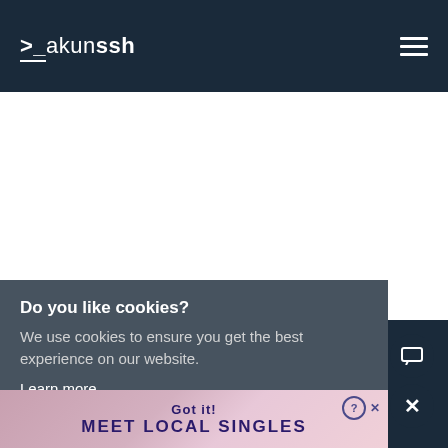>_akunssh
[Figure (screenshot): White content area placeholder]
Do you like cookies?
We use cookies to ensure you get the best experience on our website.
Learn more
[Figure (infographic): Ad banner: Got it! MEET LOCAL SINGLES - JOIN WITH A FREE TRIAL TODAY]
[Figure (other): Close button (X) and chat button overlay]